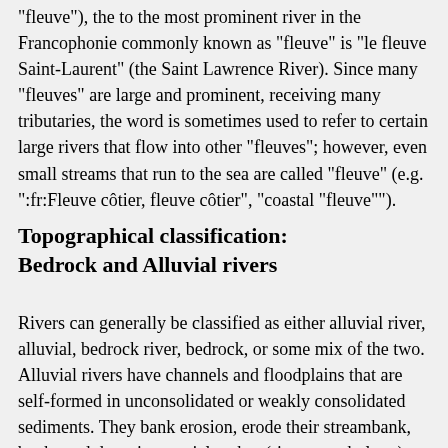"fleuve"), the to the most prominent river in the Francophonie commonly known as "fleuve" is "le fleuve Saint-Laurent" (the Saint Lawrence River). Since many "fleuves" are large and prominent, receiving many tributaries, the word is sometimes used to refer to certain large rivers that flow into other "fleuves"; however, even small streams that run to the sea are called "fleuve" (e.g. ":fr:Fleuve côtier, fleuve côtier", "coastal "fleuve"").
Topographical classification: Bedrock and Alluvial rivers
Rivers can generally be classified as either alluvial river, alluvial, bedrock river, bedrock, or some mix of the two. Alluvial rivers have channels and floodplains that are self-formed in unconsolidated or weakly consolidated sediments. They bank erosion, erode their streambank, banks and deposit material on bar (river morphology), bars and their floodplains.